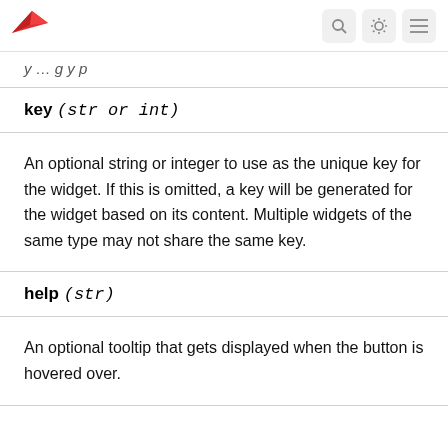[logo] [search icon] [brightness icon] [menu icon]
y … g y p
key (str or int)
An optional string or integer to use as the unique key for the widget. If this is omitted, a key will be generated for the widget based on its content. Multiple widgets of the same type may not share the same key.
help (str)
An optional tooltip that gets displayed when the button is hovered over.